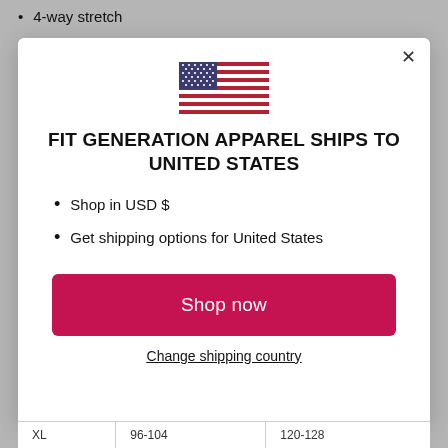4-way stretch
[Figure (illustration): US flag emoji illustration]
FIT GENERATION APPAREL SHIPS TO UNITED STATES
Shop in USD $
Get shipping options for United States
Shop now
Change shipping country
| XL | 96-104 | 120-128 |
| --- | --- | --- |